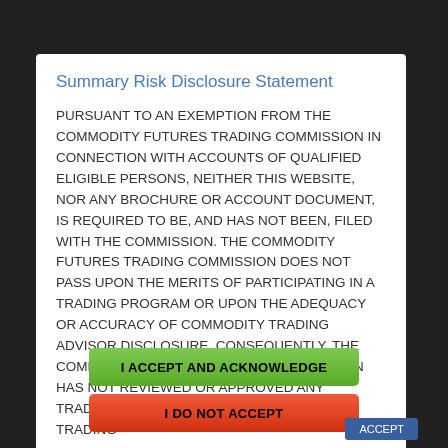Summary Risk Disclosure Statement
PURSUANT TO AN EXEMPTION FROM THE COMMODITY FUTURES TRADING COMMISSION IN CONNECTION WITH ACCOUNTS OF QUALIFIED ELIGIBLE PERSONS, NEITHER THIS WEBSITE, NOR ANY BROCHURE OR ACCOUNT DOCUMENT, IS REQUIRED TO BE, AND HAS NOT BEEN, FILED WITH THE COMMISSION. THE COMMODITY FUTURES TRADING COMMISSION DOES NOT PASS UPON THE MERITS OF PARTICIPATING IN A TRADING PROGRAM OR UPON THE ADEQUACY OR ACCURACY OF COMMODITY TRADING ADVISOR DISCLOSURE. CONSEQUENTLY, THE COMMODITY FUTURES TRADING COMMISSION HAS NOT REVIEWED OR APPROVED ANY TRADING PROGRAM OF THE COMMODITY TRADING
I ACCEPT AND ACKNOWLEDGE
I DO NOT ACCEPT